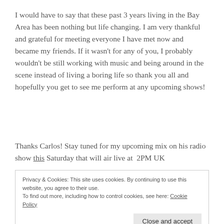I would have to say that these past 3 years living in the Bay Area has been nothing but life changing. I am very thankful and grateful for meeting everyone I have met now and became my friends. If it wasn't for any of you, I probably wouldn't be still working with music and being around in the scene instead of living a boring life so thank you all and hopefully you get to see me perform at any upcoming shows!
Thanks Carlos! Stay tuned for my upcoming mix on his radio show this Saturday that will air live at  2PM UK
Privacy & Cookies: This site uses cookies. By continuing to use this website, you agree to their use.
To find out more, including how to control cookies, see here: Cookie Policy